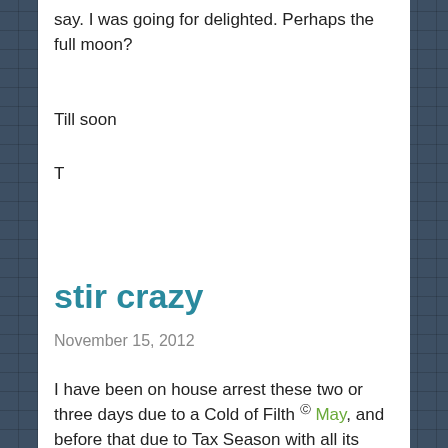say. I was going for delighted. Perhaps the full moon?
Till soon
T
stir crazy
November 15, 2012
I have been on house arrest these two or three days due to a Cold of Filth © May, and before that due to Tax Season with all its attendant feelings of woe-is-me inadequacy.  Tax Season! It's the diametric opposite of Christmas. Instead of decorations and bonhomie, we get out the spreadsheets and